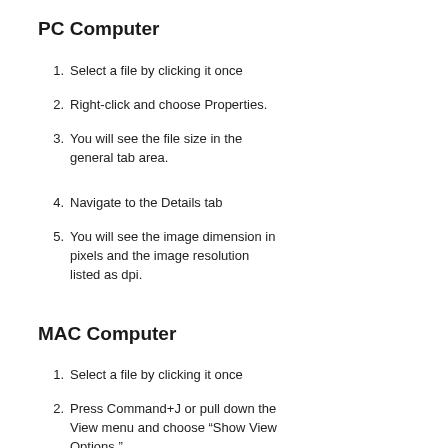PC Computer
Select a file by clicking it once
Right-click and choose Properties.
You will see the file size in the general tab area.
Navigate to the Details tab
You will see the image dimension in pixels and the image resolution listed as dpi.
MAC Computer
Select a file by clicking it once
Press Command+J or pull down the View menu and choose “Show View Options.”